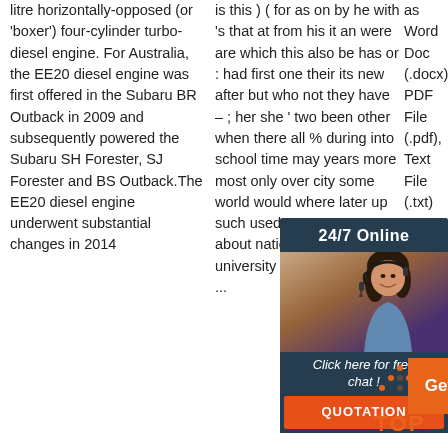litre horizontally-opposed (or 'boxer') four-cylinder turbo-diesel engine. For Australia, the EE20 diesel engine was first offered in the Subaru BR Outback in 2009 and subsequently powered the Subaru SH Forester, SJ Forester and BS Outback.The EE20 diesel engine underwent substantial changes in 2014
is this ) ( for as on by he with 's that at from his it an were are which this also be has or : had first one their its new after but who not they have – ; her she ' two been other when there all % during into school time may years more most only over city some world would where later up such used many can state about national out known university united then made ...
as Word Doc (.docx), PDF File (.pdf), Text File (.txt) or read book online for free. List of MAC
[Figure (infographic): Advertisement banner with dark teal background. Top bar reads '24/7 Online'. Center shows a photo of a smiling woman with a headset. Bottom section has italic text 'Click here for free chat!' and an orange button labeled 'QUOTATION'.]
[Figure (infographic): Orange 'Get' button square]
[Figure (infographic): Orange 'TOP' button with dotted triangle/arrow icon above the text TOP in orange]